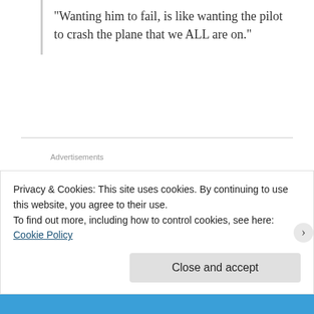“Wanting him to fail, is like wanting the pilot to crash the plane that we ALL are on.”
Advertisements
TAM   November 12, 2016 at 12:41 pm   REPLY →
This is one of the best posts I’ve read this
Privacy & Cookies: This site uses cookies. By continuing to use this website, you agree to their use.
To find out more, including how to control cookies, see here: Cookie Policy
Close and accept